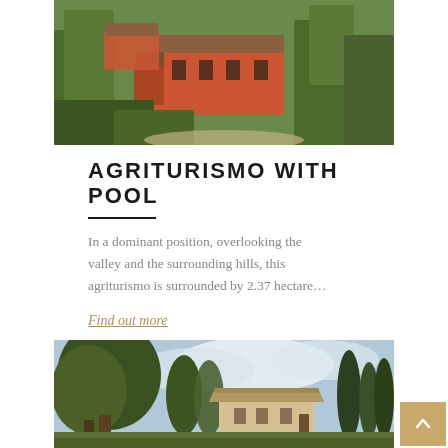[Figure (photo): Aerial view of an agriturismo with red-orange building surrounded by olive trees and greenery]
AGRITURISMO WITH POOL
In a dominant position, overlooking the valley and the surrounding hills, this agriturismo is surrounded by 2.37 hectare…
Find out more
[Figure (photo): Farmhouse with stone building visible through large trees with a cloudy sky backdrop]